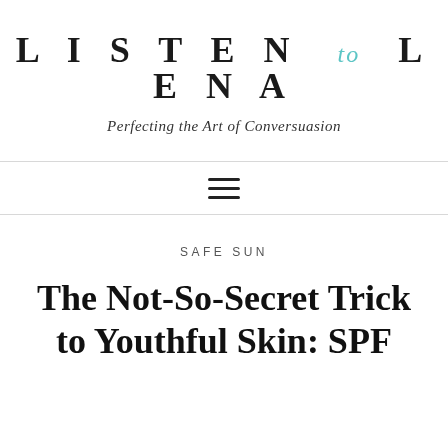LISTEN to LENA
Perfecting the Art of Conversuasion
SAFE SUN
The Not-So-Secret Trick to Youthful Skin: SPF